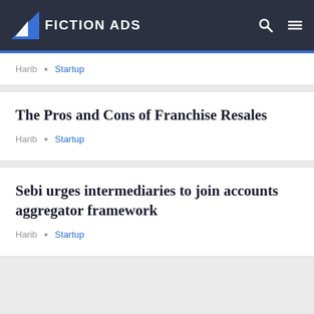FICTION ADS
Harib · Startup
The Pros and Cons of Franchise Resales
Harib · Startup
Sebi urges intermediaries to join accounts aggregator framework
Harib · Startup